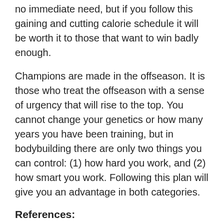no immediate need, but if you follow this gaining and cutting calorie schedule it will be worth it to those that want to win badly enough.
Champions are made in the offseason. It is those who treat the offseason with a sense of urgency that will rise to the top. You cannot change your genetics or how many years you have been training, but in bodybuilding there are only two things you can control: (1) how hard you work, and (2) how smart you work. Following this plan will give you an advantage in both categories.
References:
Porte, D., Sherwin, R.S., Baron, A., Ellenberg, M., Rifkin, H., Ellenberg and Rifkins Diabetes